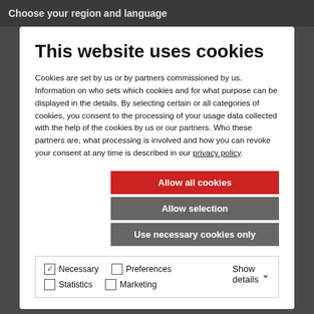Choose your region and language
This website uses cookies
Cookies are set by us or by partners commissioned by us. Information on who sets which cookies and for what purpose can be displayed in the details. By selecting certain or all categories of cookies, you consent to the processing of your usage data collected with the help of the cookies by us or our partners. Who these partners are, what processing is involved and how you can revoke your consent at any time is described in our privacy policy.
Allow all cookies
Allow selection
Use necessary cookies only
Necessary  Preferences  Statistics  Marketing  Show details